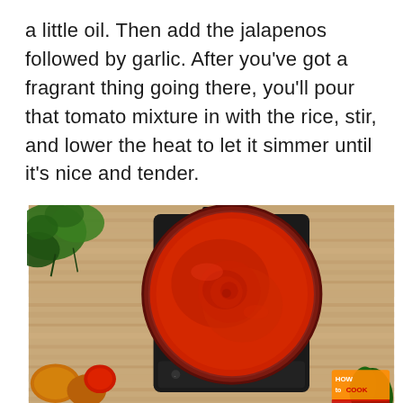a little oil. Then add the jalapenos followed by garlic. After you've got a fragrant thing going there, you'll pour that tomato mixture in with the rice, stir, and lower the heat to let it simmer until it's nice and tender.
[Figure (photo): Overhead view of a round red non-stick frying pan on a black induction cooktop, placed on a wooden surface. The pan contains simmering red tomato sauce with a swirl pattern. Fresh herbs (cilantro/parsley) are visible in the upper left corner, onions and tomatoes in the lower left, and green peppers in the lower right. A 'How to Cook' watermark logo is in the lower right corner.]